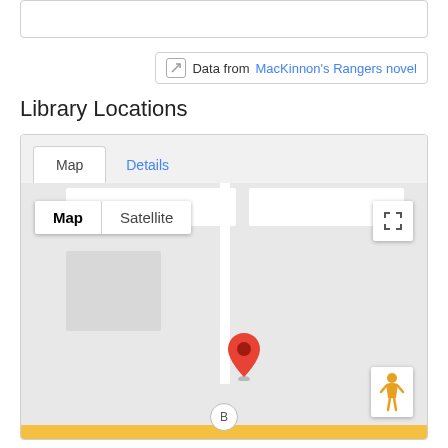Data from MacKinnon's Rangers novel
Library Locations
[Figure (map): Google Map view showing a location pin on a street map. The map has Map and Satellite toggle buttons, a fullscreen button, and a street view person icon. A red location marker is placed on a road intersection. A gold horizontal road runs along the bottom. White road lines run vertically through the map.]